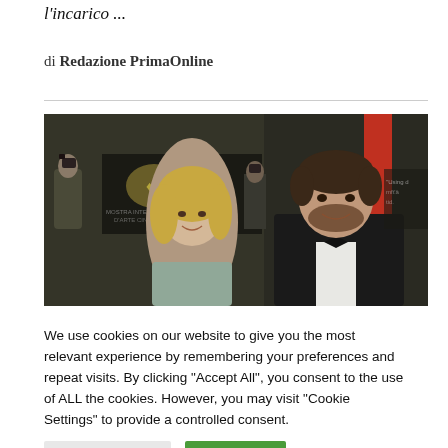l'incarico ...
di Redazione PrimaOnline
[Figure (photo): Two people posing at what appears to be the Venice Film Festival (Mostra Internazionale d'Arte Cinematografica), with a golden lion logo visible in the background. A woman with blonde hair smiles on the left; a man in a tuxedo with bow tie stands on the right. Photographers are visible behind them.]
We use cookies on our website to give you the most relevant experience by remembering your preferences and repeat visits. By clicking "Accept All", you consent to the use of ALL the cookies. However, you may visit "Cookie Settings" to provide a controlled consent.
Cookie Settings
Accept All